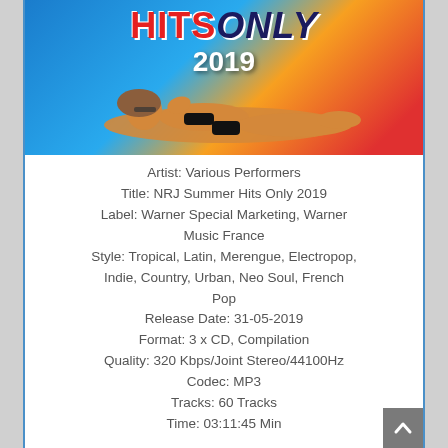[Figure (illustration): Album cover for NRJ Summer Hits Only 2019 showing a woman in a bikini lying against a colorful blue and orange background with red and dark blue text reading HITS ONLY 2019]
Artist: Various Performers
Title: NRJ Summer Hits Only 2019
Label: Warner Special Marketing, Warner Music France
Style: Tropical, Latin, Merengue, Electropop, Indie, Country, Urban, Neo Soul, French Pop
Release Date: 31-05-2019
Format: 3 x CD, Compilation
Quality: 320 Kbps/Joint Stereo/44100Hz
Codec: MP3
Tracks: 60 Tracks
Time: 03:11:45 Min